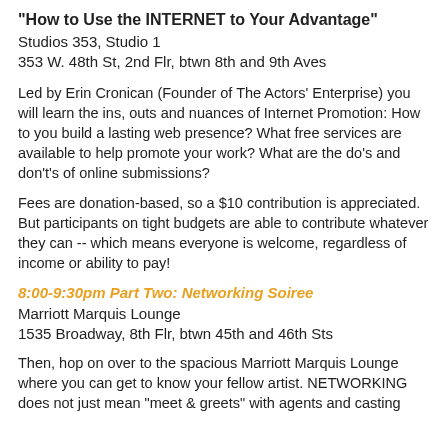"How to Use the INTERNET to Your Advantage"
Studios 353, Studio 1
353 W. 48th St, 2nd Flr, btwn 8th and 9th Aves
Led by Erin Cronican (Founder of The Actors' Enterprise) you will learn the ins, outs and nuances of Internet Promotion: How to you build a lasting web presence? What free services are available to help promote your work? What are the do's and don't's of online submissions?
Fees are donation-based, so a $10 contribution is appreciated. But participants on tight budgets are able to contribute whatever they can -- which means everyone is welcome, regardless of income or ability to pay!
8:00-9:30pm Part Two: Networking Soiree
Marriott Marquis Lounge
1535 Broadway, 8th Flr, btwn 45th and 46th Sts
Then, hop on over to the spacious Marriott Marquis Lounge where you can get to know your fellow artist. NETWORKING does not just mean "meet & greets" with agents and casting